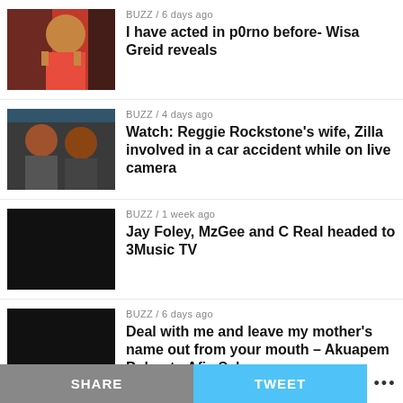BUZZ / 6 days ago — I have acted in p0rno before- Wisa Greid reveals
BUZZ / 4 days ago — Watch: Reggie Rockstone's wife, Zilla involved in a car accident while on live camera
BUZZ / 1 week ago — Jay Foley, MzGee and C Real headed to 3Music TV
BUZZ / 6 days ago — Deal with me and leave my mother's name out from your mouth – Akuapem Poloo to Afia Schwarzenegger
BUZZ / 5 days ago
SHARE   TWEET   ...